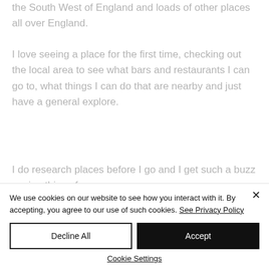the South West of England and loads of other places all over England.
I love seeing a place for the first time, checking out the local area to see what bars and restaurants I can go to, what things I can do that are nearby and just have a general explore.
I do research places before I go and I get such a buzz seeing things for
We use cookies on our website to see how you interact with it. By accepting, you agree to our use of such cookies. See Privacy Policy
Decline All
Accept
Cookie Settings